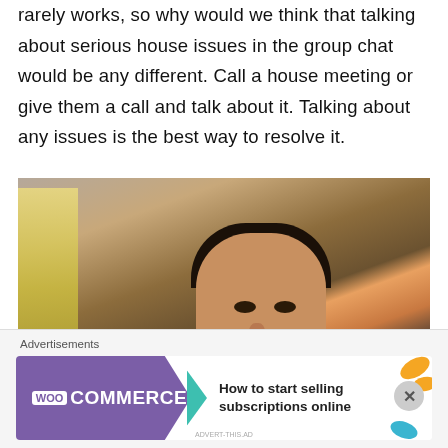rarely works, so why would we think that talking about serious house issues in the group chat would be any different. Call a house meeting or give them a call and talk about it. Talking about any issues is the best way to resolve it.
[Figure (photo): A man (resembling Joey from Friends) sitting on a couch with mouth open wide, next to a blonde woman, in what appears to be a TV show screenshot. A close/X button is visible in the bottom right corner of the image.]
Advertisements
[Figure (other): WooCommerce advertisement banner: purple arrow-shaped logo with 'WooCommerce' text on left, and 'How to start selling subscriptions online' text on right with orange and teal decorative leaf shapes.]